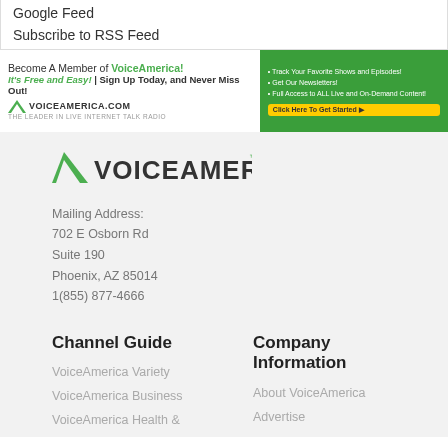Google Feed
Subscribe to RSS Feed
[Figure (illustration): VoiceAmerica banner ad: 'Become A Member of VoiceAmerica! It's Free and Easy! Sign Up Today, and Never Miss Out!' with VoiceAmerica.com logo on left, and a green panel on right listing features and a 'Click Here To Get Started' button.]
[Figure (logo): VoiceAmerica logo with green chevron/triangle icon and VOICEAMERICA wordmark]
Mailing Address:
702 E Osborn Rd
Suite 190
Phoenix, AZ 85014
1(855) 877-4666
Channel Guide
Company Information
VoiceAmerica Variety
VoiceAmerica Business
VoiceAmerica Health &
About VoiceAmerica
Advertise